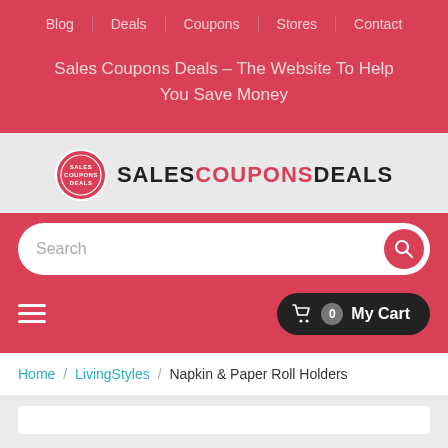Blog | Deals | Coupons | Stores | Contact
Sales Coupons Deals – The Website To Help You Save Money
[Figure (logo): Sales Coupons Deals logo — red circle with DEALS badge and bold text SALESUCOUPONSDEALS]
Search
☰  My Cart 0
Home / LivingStyles / Napkin & Paper Roll Holders